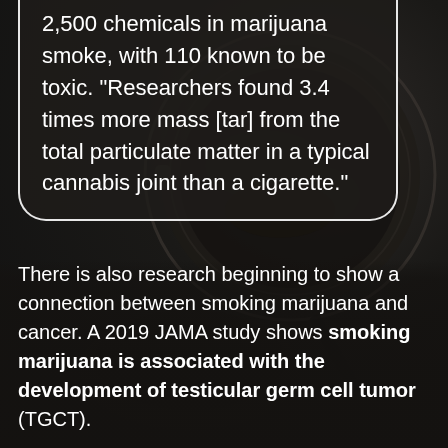2,500 chemicals in marijuana smoke, with 110 known to be toxic. "Researchers found 3.4 times more mass [tar] from the total particulate matter in a typical cannabis joint than a cigarette."
There is also research beginning to show a connection between smoking marijuana and cancer. A 2019 JAMA study shows smoking marijuana is associated with the development of testicular germ cell tumor (TGCT).